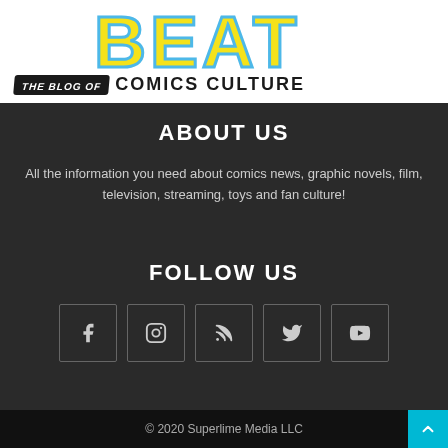[Figure (logo): The Beat - The Blog of Comics Culture logo banner with large yellow 'BEAT' text with blue stroke on white background]
ABOUT US
All the information you need about comics news, graphic novels, film, television, streaming, toys and fan culture!
FOLLOW US
[Figure (infographic): Row of 5 social media icon boxes: Facebook, Instagram, RSS, Twitter, YouTube]
© 2020 Superlime Media LLC